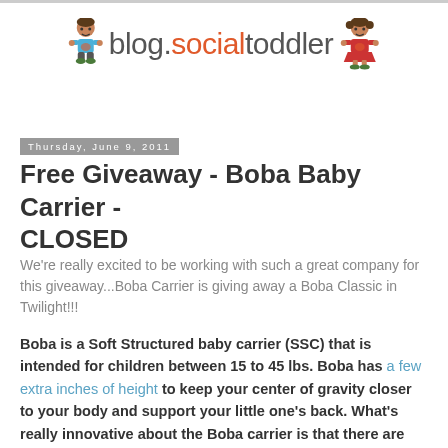[Figure (logo): blog.socialtoddler logo with two cartoon toddler characters on either side of the text]
Thursday, June 9, 2011
Free Giveaway - Boba Baby Carrier - CLOSED
We're really excited to be working with such a great company for this giveaway...Boba Carrier is giving away a Boba Classic in Twilight!!!
Boba is a Soft Structured baby carrier (SSC) that is intended for children between 15 to 45 lbs. Boba has a few extra inches of height to keep your center of gravity closer to your body and support your little one's back. What's really innovative about the Boba carrier is that there are foot straps attached to the waist belt for the child's foot to sit in and...